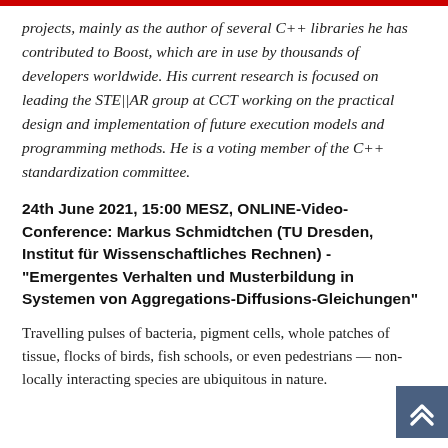projects, mainly as the author of several C++ libraries he has contributed to Boost, which are in use by thousands of developers worldwide. His current research is focused on leading the STE||AR group at CCT working on the practical design and implementation of future execution models and programming methods. He is a voting member of the C++ standardization committee.
24th June 2021, 15:00 MESZ, ONLINE-Video-Conference: Markus Schmidtchen (TU Dresden, Institut für Wissenschaftliches Rechnen) - "Emergentes Verhalten und Musterbildung in Systemen von Aggregations-Diffusions-Gleichungen"
Travelling pulses of bacteria, pigment cells, whole patches of tissue, flocks of birds, fish schools, or even pedestrians — non-locally interacting species are ubiquitous in nature.